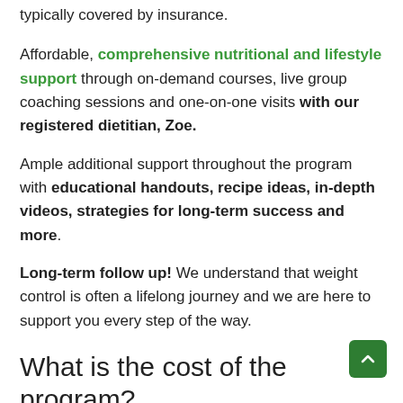typically covered by insurance.
Affordable, comprehensive nutritional and lifestyle support through on-demand courses, live group coaching sessions and one-on-one visits with our registered dietitian, Zoe.
Ample additional support throughout the program with educational handouts, recipe ideas, in-depth videos, strategies for long-term success and more.
Long-term follow up! We understand that weight control is often a lifelong journey and we are here to support you every step of the way.
What is the cost of the program?
All medical visits with our PA, Claire, are covered by your insurance. Our nutrition counseling program with our RD, Zoe, has a tiered pricing plan depending on your specific needs, ranging